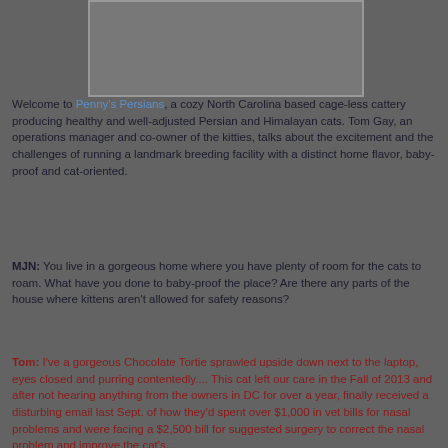[Figure (photo): Placeholder image area, grey rectangle representing a photo]
Welcome to Penny's Persians, a cozy North Carolina based cage-less cattery producing healthy and well-adjusted Persian and Himalayan cats. Tom Gay, an operations manager and co-owner of the kitties, talks about the excitement and the challenges of running a landmark breeding facility with a distinct home flavor, baby-proof and cat-oriented.
MJN: You live in a gorgeous home where you have plenty of room for the cats to roam. What have you done to baby-proof the place? Are there any parts of the house where kittens aren't allowed for safety reasons?
Tom: I've a gorgeous Chocolate Tortie sprawled upside down next to the laptop, eyes closed and purring contentedly.... This cat left our care in the Fall of 2013 and after not hearing anything from the owners in DC for over a year, finally received a disturbing email last Sept. of how they'd spent over $1,000 in vet bills for nasal problems and were facing a $2,500 bill for suggested surgery to correct the nasal problem and improve the cat's...